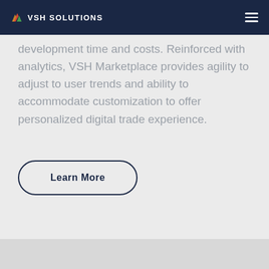VSH SOLUTIONS
development time and costs. Reinforced with analytics, VSH Marketplace provides agility to adjust to user trends and ability to accommodate customization to offer personalized digital trade experience.
Learn More